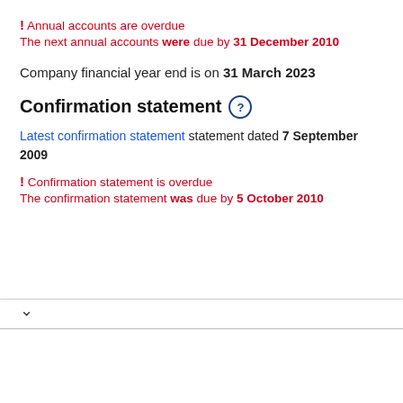! Annual accounts are overdue
The next annual accounts were due by 31 December 2010
Company financial year end is on 31 March 2023
Confirmation statement
Latest confirmation statement statement dated 7 September 2009
! Confirmation statement is overdue
The confirmation statement was due by 5 October 2010